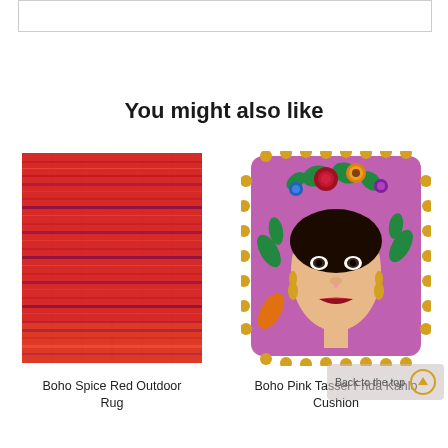[Figure (other): Empty white box with border at top of page]
You might also like
[Figure (photo): Boho Spice Red Outdoor Rug - a red/orange woven rug with horizontal stripe pattern]
Boho Spice Red Outdoor Rug
[Figure (photo): Boho Pink Tassel Frida Kahlo Cushion - pink cushion with Frida Kahlo portrait and yellow pom pom tassels, floral decoration]
Boho Pink Tassel Frida Kahlo Cushion
Back to the top